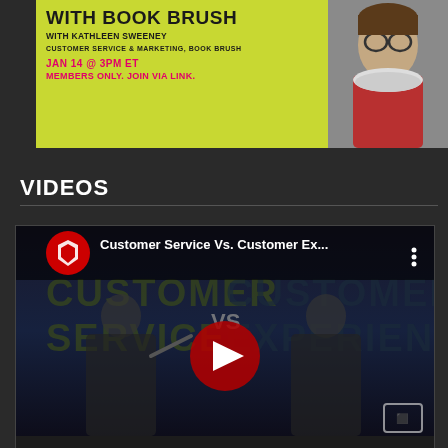[Figure (infographic): Promotional banner with lime green background showing 'WITH BOOK BRUSH' heading, 'WITH KATHLEEN SWEENEY' subtitle, 'CUSTOMER SERVICE & MARKETING, BOOK BRUSH' tagline, date 'JAN 14 @ 3PM ET' and 'MEMBERS ONLY. JOIN VIA LINK.' in pink/magenta, with a photo of a smiling woman with glasses on the right side.]
VIDEOS
[Figure (screenshot): YouTube video player showing 'Customer Service Vs. Customer Ex...' with a thumbnail of two people and text 'CUSTOMER SERVICE VS CUSTOMER EXPERIENCE'. Video controls show play button, time 00:00, progress bar, duration 15:22, and fullscreen button.]